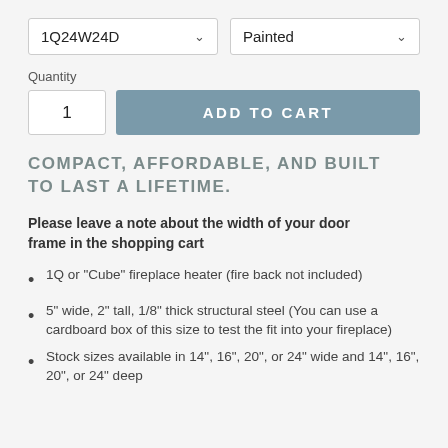1Q24W24D [dropdown] | Painted [dropdown]
Quantity
1 [quantity box] | ADD TO CART [button]
COMPACT, AFFORDABLE, AND BUILT TO LAST A LIFETIME.
Please leave a note about the width of your door frame in the shopping cart
1Q or "Cube" fireplace heater (fire back not included)
5" wide, 2" tall, 1/8" thick structural steel (You can use a cardboard box of this size to test the fit into your fireplace)
Stock sizes available in 14", 16", 20", or 24" wide and 14", 16", 20", or 24" deep